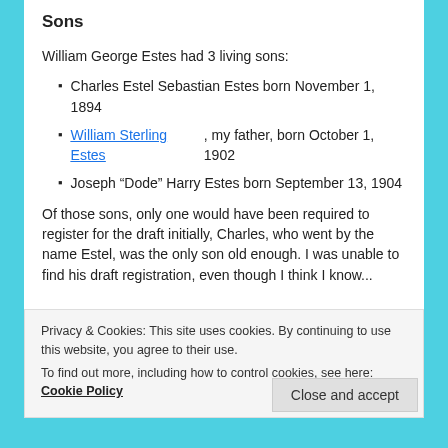Sons
William George Estes had 3 living sons:
Charles Estel Sebastian Estes born November 1, 1894
William Sterling Estes, my father, born October 1, 1902
Joseph “Dode” Harry Estes born September 13, 1904
Of those sons, only one would have been required to register for the draft initially, Charles, who went by the name Estel, was the only son old enough. I was unable to find his draft registration, even though I think I know...
Privacy & Cookies: This site uses cookies. By continuing to use this website, you agree to their use.
To find out more, including how to control cookies, see here: Cookie Policy